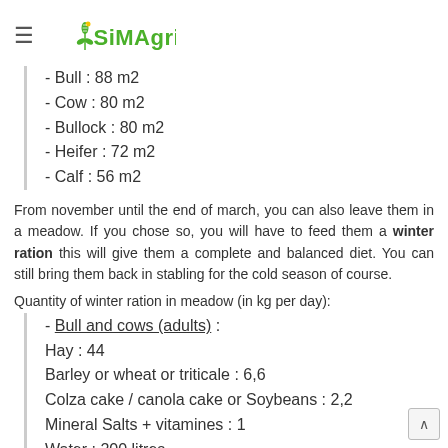≡ SIMAGRI
- Bull : 88 m2
- Cow : 80 m2
- Bullock : 80 m2
- Heifer : 72 m2
- Calf : 56 m2
From november until the end of march, you can also leave them in a meadow. If you chose so, you will have to feed them a winter ration this will give them a complete and balanced diet. You can still bring them back in stabling for the cold season of course.
Quantity of winter ration in meadow (in kg per day):
- Bull and cows (adults) :
Hay : 44
Barley or wheat or triticale : 6,6
Colza cake / canola cake or Soybeans : 2,2
Mineral Salts + vitamines : 1
Water : 200 litres